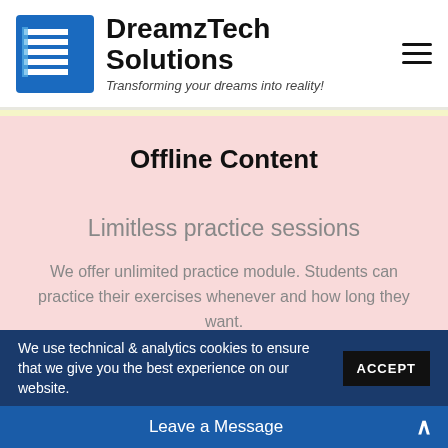DreamzTech Solutions — Transforming your dreams into reality!
Offline Content
Limitless practice sessions
We offer unlimited practice module. Students can practice their exercises whenever and how long they want.
We use technical & analytics cookies to ensure that we give you the best experience on our website.
Leave a Message